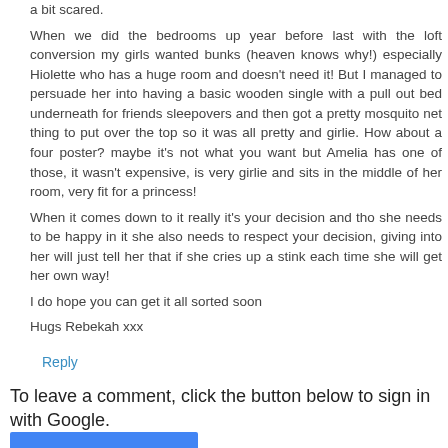a bit scared. When we did the bedrooms up year before last with the loft conversion my girls wanted bunks (heaven knows why!) especially Hiolette who has a huge room and doesn't need it! But I managed to persuade her into having a basic wooden single with a pull out bed underneath for friends sleepovers and then got a pretty mosquito net thing to put over the top so it was all pretty and girlie. How about a four poster? maybe it's not what you want but Amelia has one of those, it wasn't expensive, is very girlie and sits in the middle of her room, very fit for a princess! When it comes down to it really it's your decision and tho she needs to be happy in it she also needs to respect your decision, giving into her will just tell her that if she cries up a stink each time she will get her own way! I do hope you can get it all sorted soon Hugs Rebekah xxx
Reply
To leave a comment, click the button below to sign in with Google.